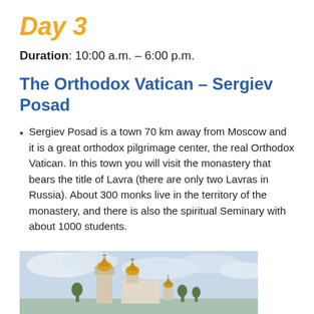Day 3
Duration: 10:00 a.m. – 6:00 p.m.
The Orthodox Vatican – Sergiev Posad
Sergiev Posad is a town 70 km away from Moscow and it is a great orthodox pilgrimage center, the real Orthodox Vatican. In this town you will visit the monastery that bears the title of Lavra (there are only two Lavras in Russia). About 300 monks live in the territory of the monastery, and there is also the spiritual Seminary with about 1000 students.
[Figure (photo): Photo of Sergiev Posad monastery with golden domes and bell tower against a cloudy sky]